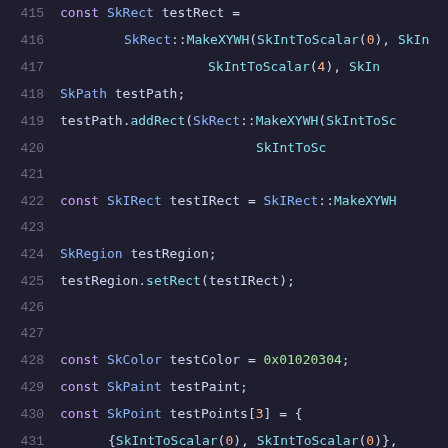415-435: C++ source code showing SkRect, SkPath, SkIRect, SkRegion, SkColor, SkPaint, SkPoint declarations and initializations